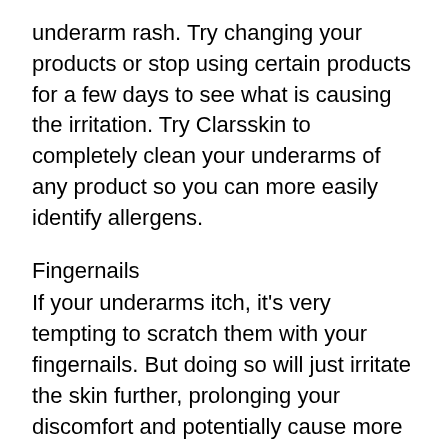underarm rash. Try changing your products or stop using certain products for a few days to see what is causing the irritation. Try Clarsskin to completely clean your underarms of any product so you can more easily identify allergens.
Fingernails
If your underarms itch, it’s very tempting to scratch them with your fingernails. But doing so will just irritate the skin further, prolonging your discomfort and potentially cause more irritation or even scarring if you break the skin. Instead, try putting a damp cloth over your rash, using hydrocortisone cream, apply some calamine lotion, or soak in a refreshing oatmeal bath to sooth extremely irritated skin. If your rash is painful, an aspirin or ibuprofen can help.
Friction